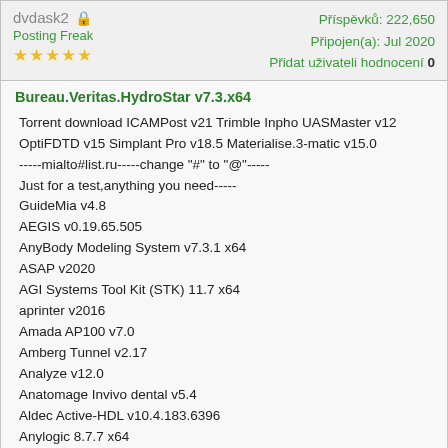dvdask2  Posting Freak  ★★★★★  Příspěvků: 222,650  Připojen(a): Jul 2020  Přidat uživateli hodnocení 0
Bureau.Veritas.HydroStar v7.3.x64
Torrent download ICAMPost v21 Trimble Inpho UASMaster v12 OptiFDTD v15 Simplant Pro v18.5 Materialise.3-matic v15.0 -----mialto#list.ru-----change "#" to "@"----- Just for a test,anything you need----- GuideMia v4.8 AEGIS v0.19.65.505 AnyBody Modeling System v7.3.1 x64 ASAP v2020 AGI Systems Tool Kit (STK) 11.7 x64 aprinter v2016 Amada AP100 v7.0 Amberg Tunnel v2.17 Analyze v12.0 Anatomage Invivo dental v5.4 Aldec Active-HDL v10.4.183.6396 Anylogic 8.7.7 x64 aspenONE v12 ATP-EMTP v6.1 ATK.Magic.Tool.Suite v7.43.Win Attributstudio VVA 2020